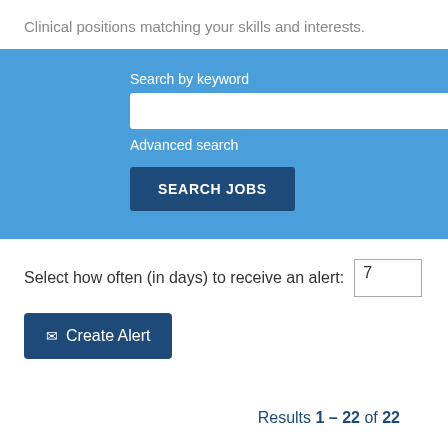Clinical positions matching your skills and interests.
Search by keyword
Advanced search
SEARCH JOBS
Select how often (in days) to receive an alert: 7
Create Alert
Results 1 – 22 of 22